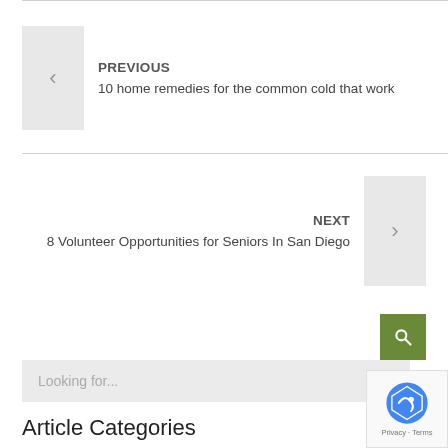PREVIOUS
10 home remedies for the common cold that work
NEXT
8 Volunteer Opportunities for Seniors In San Diego
Looking for...
Article Categories